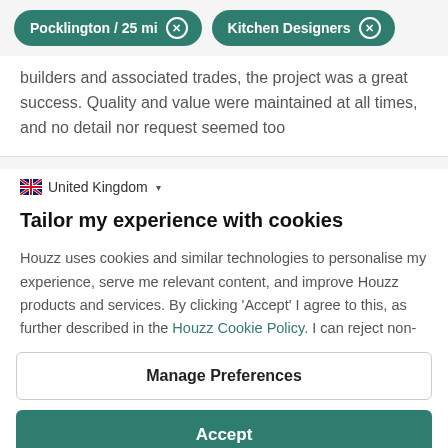Pocklington / 25 mi  Kitchen Designers
builders and associated trades, the project was a great success. Quality and value were maintained at all times, and no detail nor request seemed too
United Kingdom
Tailor my experience with cookies
Houzz uses cookies and similar technologies to personalise my experience, serve me relevant content, and improve Houzz products and services. By clicking 'Accept' I agree to this, as further described in the Houzz Cookie Policy. I can reject non-
Manage Preferences
Accept